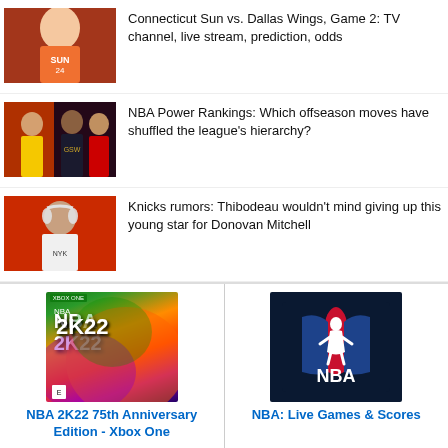[Figure (photo): Connecticut Sun player #24 in orange uniform]
Connecticut Sun vs. Dallas Wings, Game 2: TV channel, live stream, prediction, odds
[Figure (photo): NBA players including Stephen Curry in Golden State Warriors uniforms]
NBA Power Rankings: Which offseason moves have shuffled the league’s hierarchy?
[Figure (photo): Knicks player wearing white headphones against orange background]
Knicks rumors: Thibodeau wouldn’t mind giving up this young star for Donovan Mitchell
[Figure (photo): NBA 2K22 75th Anniversary Edition Xbox One game box art]
NBA 2K22 75th Anniversary Edition - Xbox One
[Figure (logo): NBA logo on dark navy background]
NBA: Live Games & Scores